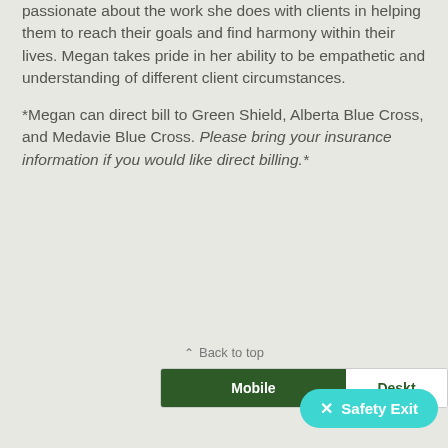passionate about the work she does with clients in helping them to reach their goals and find harmony within their lives. Megan takes pride in her ability to be empathetic and understanding of different client circumstances.
*Megan can direct bill to Green Shield, Alberta Blue Cross, and Medavie Blue Cross. Please bring your insurance information if you would like direct billing.*
⌃ Back to top
Mobile
Desktop
✕ Safety Exit